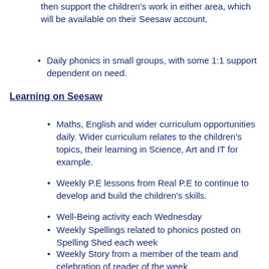then support the children's work in either area, which will be available on their Seesaw account.
Daily phonics in small groups, with some 1:1 support dependent on need.
Learning on Seesaw
Maths, English and wider curriculum opportunities daily. Wider curriculum relates to the children's topics, their learning in Science, Art and IT for example.
Weekly P.E lessons from Real P.E to continue to develop and build the children's skills.
Well-Being activity each Wednesday
Weekly Spellings related to phonics posted on Spelling Shed each week
Weekly Story from a member of the team and celebration of reader of the week